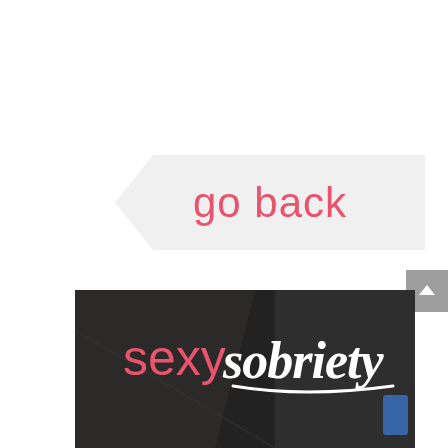[Figure (other): A left-pointing arrow/chevron banner in light grey with pink text reading 'go back']
[Figure (screenshot): Photo of a laptop screen showing the 'sexy sobriety' logo — 'sexy' in pink sans-serif and 'sobriety' in white script/italic font — against a dark background]